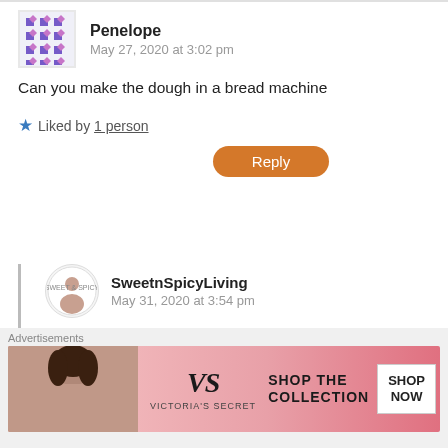Penelope
May 27, 2020 at 3:02 pm
Can you make the dough in a bread machine
Liked by 1 person
Reply
SweetnSpicyLiving
May 31, 2020 at 3:54 pm
Hi Penelope,
I haven't tried making it in bread machine. If you do, make sure to add the wet ingredients first then the dry ingredients. Do not leave it in the bread machine to bake,
Advertisements
[Figure (photo): Victoria's Secret advertisement banner with a model on the left, the VS logo in center, and 'SHOP THE COLLECTION / SHOP NOW' text on the right]